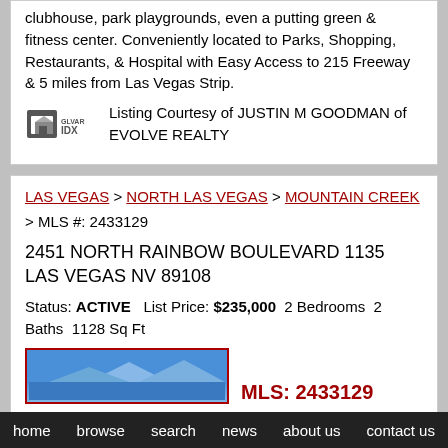clubhouse, park playgrounds, even a putting green & fitness center. Conveniently located to Parks, Shopping, Restaurants, & Hospital with Easy Access to 215 Freeway & 5 miles from Las Vegas Strip.
Listing Courtesy of JUSTIN M GOODMAN of EVOLVE REALTY
LAS VEGAS > NORTH LAS VEGAS > MOUNTAIN CREEK > MLS #: 2433129
2451 NORTH RAINBOW BOULEVARD 1135 LAS VEGAS NV 89108
Status: ACTIVE    List Price: $235,000    2 Bedrooms    2 Baths    1128 Sq Ft
[Figure (photo): Property photo thumbnail with MLS: 2433129 label]
home   browse   search   news   about us   contact us